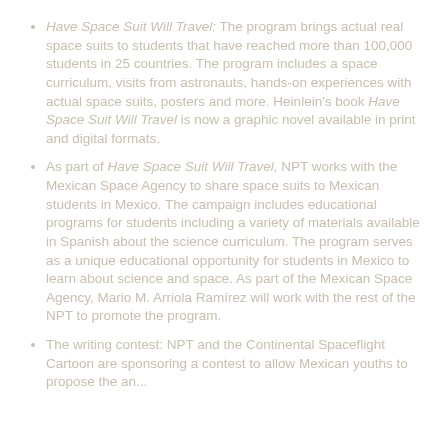Have Space Suit Will Travel: The program brings actual real space suits to students that have reached more than 100,000 students in 25 countries. The program includes a space curriculum, visits from astronauts, hands-on experiences with actual space suits, posters and more. Heinlein's book Have Space Suit Will Travel is now a graphic novel available in print and digital formats.
As part of Have Space Suit Will Travel, NPT works with the Mexican Space Agency to share space suits to Mexican students in Mexico. The campaign includes educational programs for students including a variety of materials available in Spanish about the science curriculum. The program serves as a unique educational opportunity for students in Mexico to learn about science and space. As part of the Mexican Space Agency, Mario M. Arriola Ramírez will work with the rest of the NPT to promote the program.
The writing contest: NPT and the Continental Spaceflight Cartoon are sponsoring a contest to allow Mexican youths to propose the an...